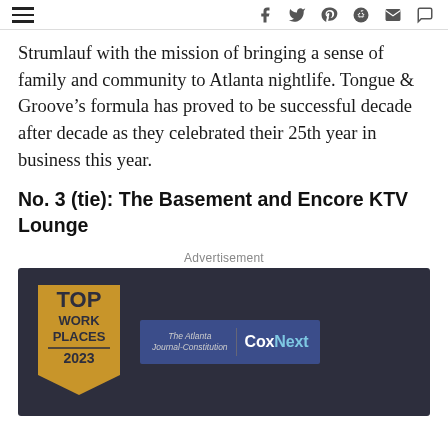[navigation bar with hamburger menu and social icons: f, twitter, pinterest, reddit, mail, comment]
Strumlauf with the mission of bringing a sense of family and community to Atlanta nightlife. Tongue & Groove’s formula has proved to be successful decade after decade as they celebrated their 25th year in business this year.
No. 3 (tie): The Basement and Encore KTV Lounge
Advertisement
[Figure (other): Advertisement banner: Top Workplaces 2023 award badge in gold on dark background, co-branded with The Atlanta Journal-Constitution and CoxNext logos]